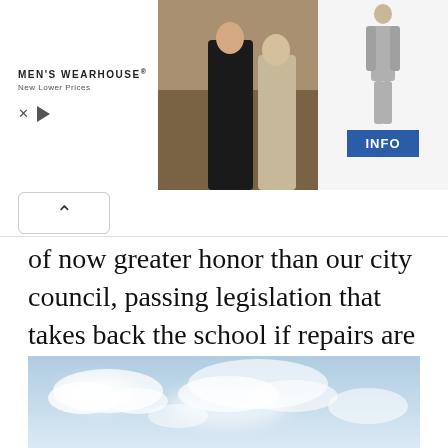[Figure (screenshot): Men's Wearhouse advertisement banner showing a couple in formal wear, a suit figure, and an INFO button]
[Figure (screenshot): UI navigation bar with an up chevron button]
of now greater honor than our city council, passing legislation that takes back the school if repairs are not made. A chance to do good in the world and return it to the people. A legacy.
[Figure (photo): Sky with white clouds on a light blue background]